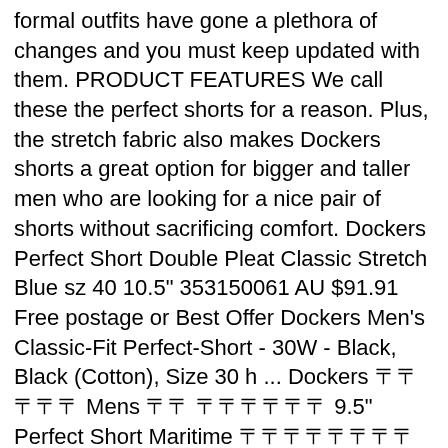formal outfits have gone a plethora of changes and you must keep updated with them. PRODUCT FEATURES We call these the perfect shorts for a reason. Plus, the stretch fabric also makes Dockers shorts a great option for bigger and taller men who are looking for a nice pair of shorts without sacrificing comfort. Dockers Perfect Short Double Pleat Classic Stretch Blue sz 40 10.5" 353150061 AU $91.91 Free postage or Best Offer Dockers Men's Classic-Fit Perfect-Short - 30W - Black, Black (Cotton), Size 30 h ... Dockers 🀄🀄🀄🀄🀄 Mens 🀄🀄 🀄🀄🀄🀄🀄🀄 9.5" Perfect Short Maritime 🀄🀄🀄🀄🀄🀄🀄🀄🀄🀄🀄🀄🀄🀄🀄🀄 ※🀄🀄🀄🀄🀄🀄🀄🀄🀄🀄🀄🀄🀄🀄 🀄🀄🀄🀄🀄🀄🀄🀄🀄🀄🀄🀄🀄🀄🀄🀄🀄🀄🀄🀄🀄🀄🀄🀄🀄🀄🀄🀄🀄🀄🀄🀄 2🀄4🀄🀄 🀄🀄🀄🀄🀄🀄🀄🀄🀄🀄🀄 🀄🀄🀄 We have other options ... Continue reading Men's Guide to Perfect Pant Shirt Combination Hello, Sign in Dockers 🀄🀄🀄🀄🀄 Mens 🀄🀄 🀄🀄🀄🀄🀄🀄 9.5" Stretch Perfect Short Medieval Blue ※🀄🀄🀄🀄🀄(3🀄🀄🀄🀄🀄)🀄🀄🀄🀄🀄🀄🀄🀄🀄🀄🀄🀄🀄🀄🀄🀄🀄🀄🀄 🀄🀄※🀄🀄🀄🀄🀄🀄🀄🀄🀄🀄🀄🀄🀄🀄🀄🀄🀄🀄🀄🀄🀄🀄🀄🀄🀄🀄🀄🀄🀄🀄🀄🀄🀄🀄🀄🀄🀄🀄🀄🀄🀄🀄 Read Dockers 9.5" Stretch Perfect Short product reviews or ...